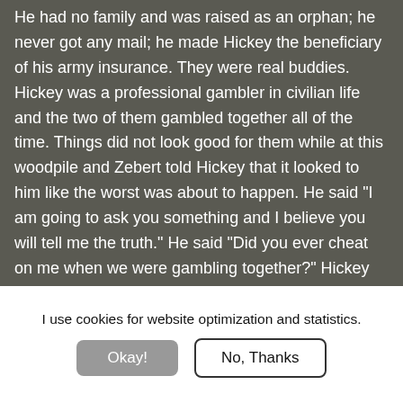He had no family and was raised as an orphan; he never got any mail; he made Hickey the beneficiary of his army insurance. They were real buddies. Hickey was a professional gambler in civilian life and the two of them gambled together all of the time. Things did not look good for them while at this woodpile and Zebert told Hickey that it looked to him like the worst was about to happen. He said "I am going to ask you something and I believe you will tell me the truth." He said "Did you ever cheat on me when we were gambling together?" Hickey said "Yes, all the time". Zebert made it out with the rest of us but Hickey was captured. We were still in the position that we had pulled back to when
I use cookies for website optimization and statistics.
Okay!
No, Thanks